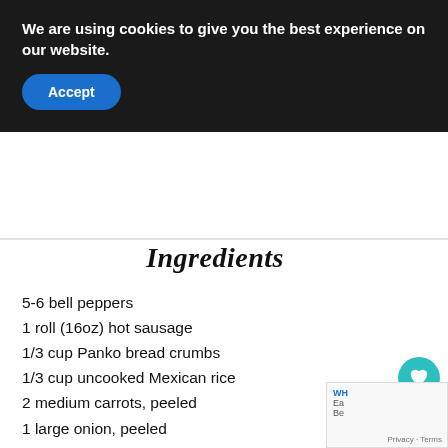We are using cookies to give you the best experience on our website.
Accept
Ingredients
5-6 bell peppers
1 roll (16oz) hot sausage
1/3 cup Panko bread crumbs
1/3 cup uncooked Mexican rice
2 medium carrots, peeled
1 large onion, peeled
1 teaspoon salt
1/2 teaspoon pepper
1 cup of water
1 cup of salsa
1 cup Mexican blend cheese